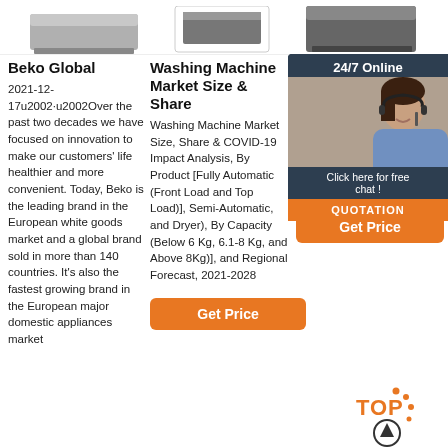[Figure (photo): Three product images (appliances) shown at the top, partially cropped]
Beko Global
2021-12-17u2002·u2002Over the past two decades we have focused on innovation to make our customers' life healthier and more convenient. Today, Beko is the leading brand in the European white goods market and a global brand sold in more than 140 countries. It's also the fastest growing brand in the European major domestic appliances market
Washing Machine Market Size & Share
Washing Machine Market Size, Share & COVID-19 Impact Analysis, By Product [Fully Automatic (Front Load and Top Load)], Semi-Automatic, and Dryer), By Capacity (Below 6 Kg, 6.1-8 Kg, and Above 8Kg)], and Regional Forecast, 2021-2028
[Figure (screenshot): Get Price orange button below washing machine text]
Region Selection - Ball - Home
Ball Corp the world provider innovative sustainable aluminum packaging beverage care and products, as well as …
[Figure (screenshot): Get Price orange button in right column]
[Figure (infographic): 24/7 Online chat widget overlay with agent photo, 'Click here for free chat!' text and orange QUOTATION button]
[Figure (infographic): TOP scroll-to-top icon with orange dots and arrow circle at bottom right]